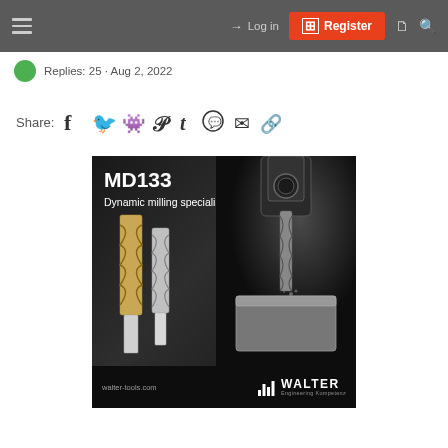Log in | Register
Replies: 25 · Aug 2, 2022
Share:
[Figure (screenshot): Advertisement for Walter MD133 Dynamic milling specialist end mills. Shows milling tools on left and CNC milling machine on right. Footer shows walter-tools.com and Walter Engineering Kompetenz branding.]